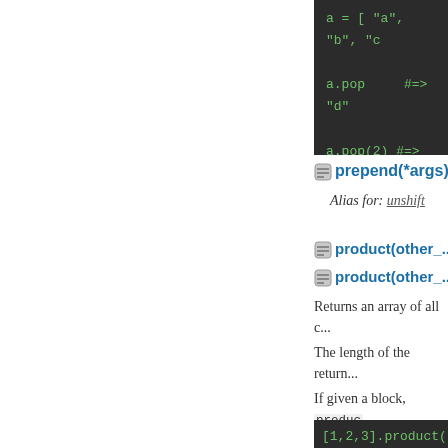[Figure (screenshot): Code block showing Ruby array pop operations: a = ["a", "b", "c"], a.pop #=> "d", a.pop(2) #=> ["b",...], a #=> ["a"]]
prepend(*args)
Alias for: unshift
product(other_...
product(other_...
Returns an array of all c...
The length of the return...
If given a block, produc...
[Figure (screenshot): Code block showing [1,2,3].product([4,...]